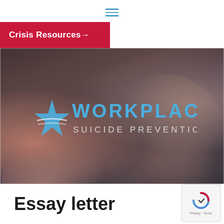Navigation menu (hamburger icon)
Crisis Resources →
[Figure (screenshot): Hero image showing Workplace Suicide Prevention logo overlaid on a dark blurred background image of hands. Text reads: WORKPLACE SUICIDE PREVENTION]
Essay letter